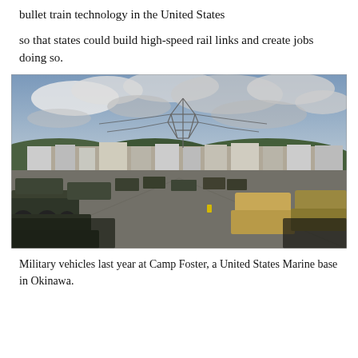bullet train technology in the United States
so that states could build high-speed rail links and create jobs doing so.
[Figure (photo): Photograph of military vehicles parked on a large tarmac area at Camp Foster, a United States Marine base in Okinawa. In the background are buildings, green hills, and a large electrical transmission tower under a partly cloudy sky.]
Military vehicles last year at Camp Foster, a United States Marine base in Okinawa.